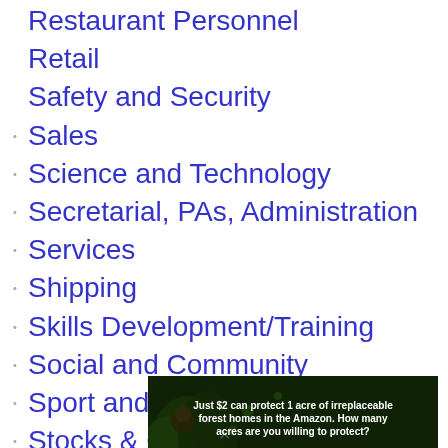Restaurant Personnel
Retail
Safety and Security
Sales
Science and Technology
Secretarial, PAs, Administration
Services
Shipping
Skills Development/Training
Social and Community
Sport and Fitness
Stocks & Commodities
Supply Chain
Telecommunications
[Figure (other): Advertisement banner: 'Just $2 can protect 1 acre of irreplaceable forest homes in the Amazon. How many acres are you willing to protect?' with a green 'Protect Forests Now' button and a background image of forest/rainforest with an animal.]